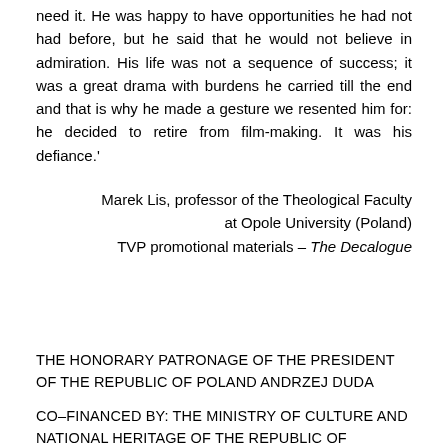need it. He was happy to have opportunities he had not had before, but he said that he would not believe in admiration. His life was not a sequence of success; it was a great drama with burdens he carried till the end and that is why he made a gesture we resented him for: he decided to retire from film-making. It was his defiance.'
Marek Lis, professor of the Theological Faculty at Opole University (Poland)
TVP promotional materials – The Decalogue
THE HONORARY PATRONAGE OF THE PRESIDENT OF THE REPUBLIC OF POLAND ANDRZEJ DUDA
CO-FINANCED BY: THE MINISTRY OF CULTURE AND NATIONAL HERITAGE OF THE REPUBLIC OF POLAND, THE CITY OF TORUŃ AND